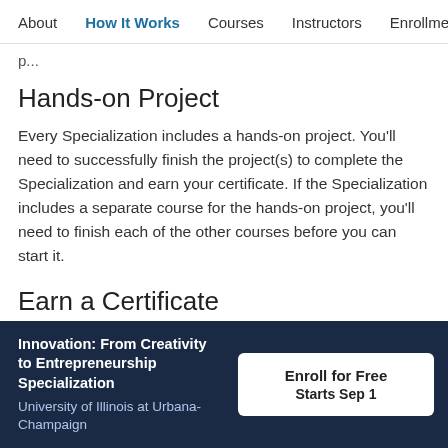About   How It Works   Courses   Instructors   Enrollmer
p...
Hands-on Project
Every Specialization includes a hands-on project. You'll need to successfully finish the project(s) to complete the Specialization and earn your certificate. If the Specialization includes a separate course for the hands-on project, you'll need to finish each of the other courses before you can start it.
Earn a Certificate
Innovation: From Creativity to Entrepreneurship Specialization
University of Illinois at Urbana-Champaign
Enroll for Free
Starts Sep 1